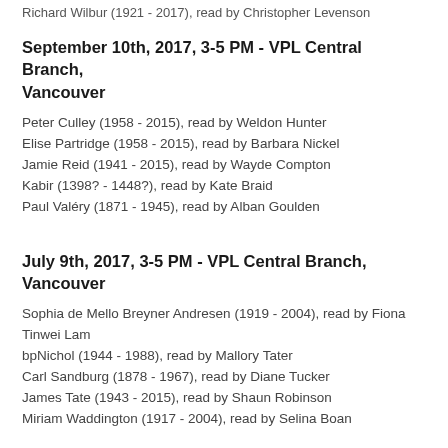Richard Wilbur (1921 - 2017), read by Christopher Levenson
September 10th, 2017, 3-5 PM - VPL Central Branch, Vancouver
Peter Culley (1958 - 2015), read by Weldon Hunter
Elise Partridge (1958 - 2015), read by Barbara Nickel
Jamie Reid (1941 - 2015), read by Wayde Compton
Kabir (1398? - 1448?), read by Kate Braid
Paul Valéry (1871 - 1945), read by Alban Goulden
July 9th, 2017, 3-5 PM - VPL Central Branch, Vancouver
Sophia de Mello Breyner Andresen (1919 - 2004), read by Fiona Tinwei Lam
bpNichol (1944 - 1988), read by Mallory Tater
Carl Sandburg (1878 - 1967), read by Diane Tucker
James Tate (1943 - 2015), read by Shaun Robinson
Miriam Waddington (1917 - 2004), read by Selina Boan